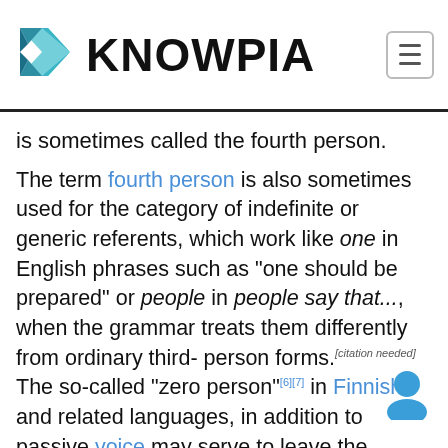KNOWPIA
is sometimes called the fourth person.
The term fourth person is also sometimes used for the category of indefinite or generic referents, which work like one in English phrases such as "one should be prepared" or people in people say that..., when the grammar treats them differently from ordinary third-person forms.[citation needed] The so-called "zero person"[6][7] in Finnish and related languages, in addition to passive voice may serve to leave the subject-referent open. Zero person subjects are sometimes translated as "one," but the problem with that is that English language constructions involving one, e.g. "One hopes that will not happen," are rare[citation needed] and could be considered expressive